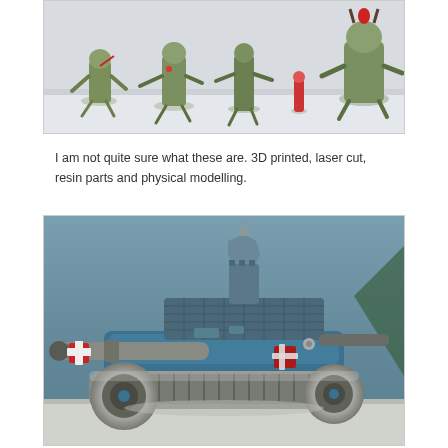[Figure (photo): Photograph of multiple painted fantasy/sci-fi figurines or miniatures on a pale surface, showing creature-like figures in various poses with colorful details including red and green accents.]
I am not quite sure what these are. 3D printed, laser cut, resin parts and physical modelling.
[Figure (photo): Photograph of a painted miniature tank model, blue-green colored with weathering effects, large cannon on the front, spiked turret on top, large rubber-looking wheels/tracks, red cross markings on the side, photographed against a blue background.]